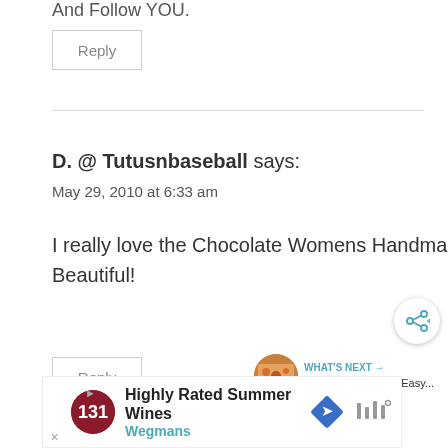And Follow YOU.
Reply
D. @ Tutusnbaseball says:
May 29, 2010 at 6:33 am
I really love the Chocolate Womens Handmade Purse/Shoulderbag! Beautiful!
Reply
[Figure (other): Share icon button (circular white button with share arrows icon in teal)]
[Figure (other): What's Next panel showing food image thumbnail with text 'One Pot Meals and Easy...']
[Figure (other): Advertisement banner: Highly Rated Summer Wines - Wegmans]